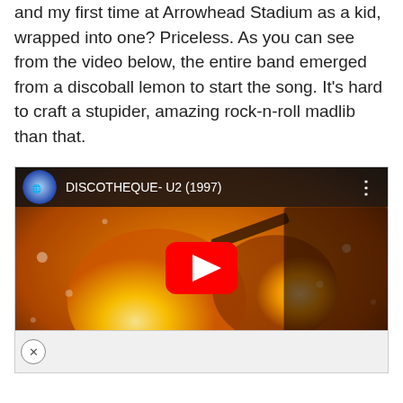and my first time at Arrowhead Stadium as a kid, wrapped into one? Priceless. As you can see from the video below, the entire band emerged from a discoball lemon to start the song. It's hard to craft a stupider, amazing rock-n-roll madlib than that.
[Figure (screenshot): Embedded YouTube video thumbnail showing DISCOTHEQUE- U2 (1997) with a singer holding a microphone against a bright orange/yellow stage lighting background. A red YouTube play button is centered on the image.]